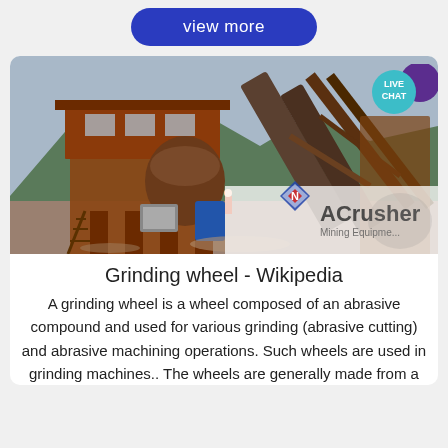view more
[Figure (photo): Large industrial mining/grinding machine with rusty brown steel structure, conveyor belts, and a control tower, set against a mountainous background. ACrusher Mining Equipment logo watermark in lower right corner.]
Grinding wheel - Wikipedia
A grinding wheel is a wheel composed of an abrasive compound and used for various grinding (abrasive cutting) and abrasive machining operations. Such wheels are used in grinding machines.. The wheels are generally made from a